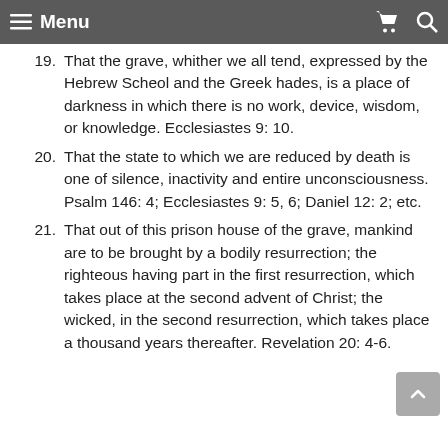Menu
19. That the grave, whither we all tend, expressed by the Hebrew Scheol and the Greek hades, is a place of darkness in which there is no work, device, wisdom, or knowledge. Ecclesiastes 9: 10.
20. That the state to which we are reduced by death is one of silence, inactivity and entire unconsciousness. Psalm 146: 4; Ecclesiastes 9: 5, 6; Daniel 12: 2; etc.
21. That out of this prison house of the grave, mankind are to be brought by a bodily resurrection; the righteous having part in the first resurrection, which takes place at the second advent of Christ; the wicked, in the second resurrection, which takes place a thousand years thereafter. Revelation 20: 4-6.